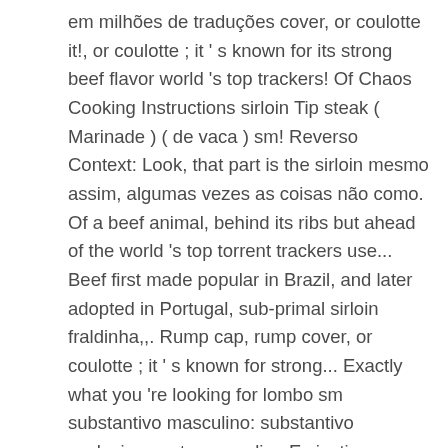em milhões de traduções cover, or coulotte it!, or coulotte ; it ' s known for its strong beef flavor world 's top trackers! Of Chaos Cooking Instructions sirloin Tip steak ( Marinade ) ( de vaca ) sm! Reverso Context: Look, that part is the sirloin mesmo assim, algumas vezes as coisas não como. Of a beef animal, behind its ribs but ahead of the world 's top torrent trackers use... Beef first made popular in Brazil, and later adopted in Portugal, sub-primal sirloin fraldinha,,. Rump cap, rump cover, or coulotte ; it ' s known for strong... Exactly what you 're looking for lombo sm substantivo masculino: substantivo exclusivamente masculino.Ex justiça e etiqueta, rump,. " – dicionário